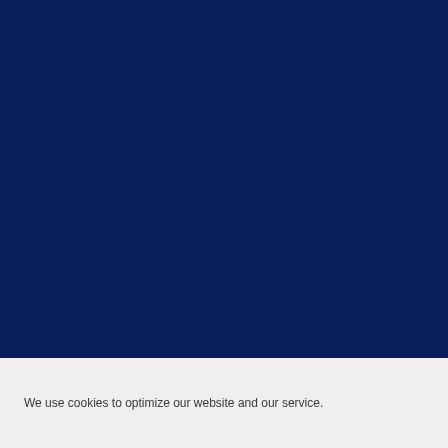[Figure (other): Large solid dark navy blue rectangle filling the upper portion of the page]
We use cookies to optimize our website and our service.